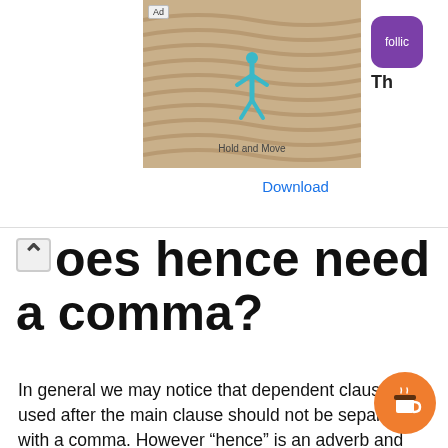[Figure (screenshot): Mobile ad banner showing a game app (Hold and Move) with Follic logo and Download button]
oes hence need a comma?
In general we may notice that dependent clauses used after the main clause should not be separated with a comma. However “hence” is an adverb and not a conjunction so it cannot link two clauses together. Hence the comma does the job instead.